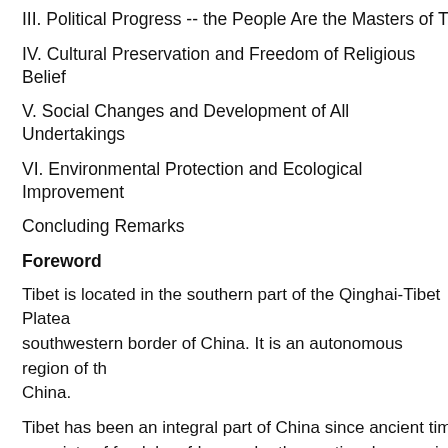III. Political Progress -- the People Are the Masters of Their Ow
IV. Cultural Preservation and Freedom of Religious Belief
V. Social Changes and Development of All Undertakings
VI. Environmental Protection and Ecological Improvement
Concluding Remarks
Foreword
Tibet is located in the southern part of the Qinghai-Tibet Plateau, southwestern border of China. It is an autonomous region of China.
Tibet has been an integral part of China since ancient times. a society of feudal serfdom under theocratic rule, a society ch